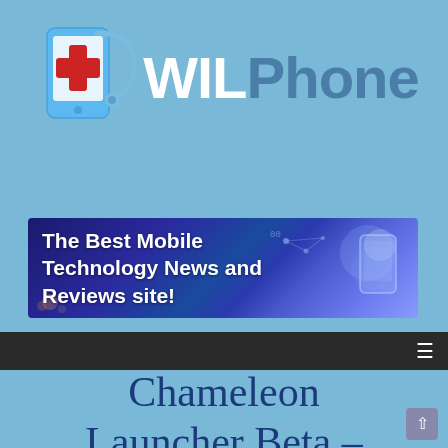[Figure (logo): WILPhone logo with a phone/medical icon and the text WILPhone where WIL is white and Phone is steel blue]
[Figure (screenshot): Banner image with dark blue tech background and text: The Best Mobile Technology News and Reviews site!]
[Figure (infographic): Dark navigation bar with hamburger menu icon on the right]
Chameleon Launcher Beta –